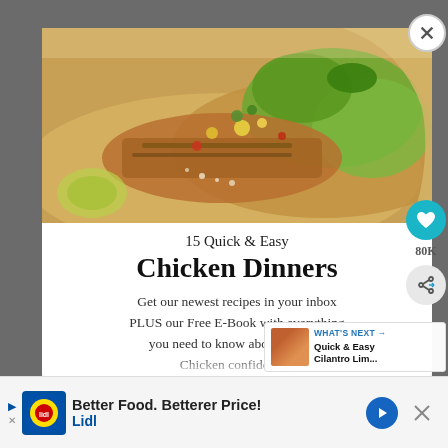[Figure (photo): Close-up photo of chicken tacos with avocado, pineapple salsa, and fresh toppings in tortillas]
15 Quick & Easy
Chicken Dinners
Get our newest recipes in your inbox PLUS our Free E-Book with everything you need to know about cooking Chicken confidently!
WHAT'S NEXT → Quick & Easy Cilantro Lim...
Better Food. Betterer Price! Lidl